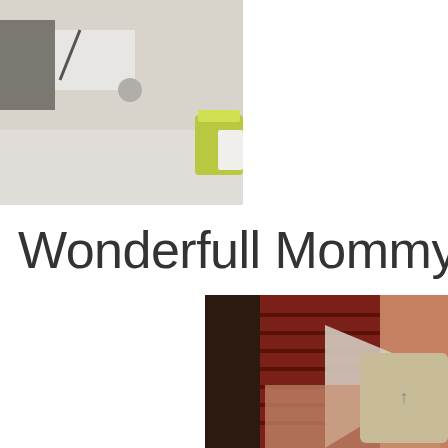[Figure (photo): Top photo showing a bathroom or kitchen counter scene, cropped, with appliances and a green/yellow cup visible on the right side.]
Wonderfull Mommy P
[Figure (photo): Close-up photo showing fabric with dark red/burgundy striped textile and a light-colored triangular shape, with a beige/tan rectangular overlay box containing a small arrow icon in the lower right area.]